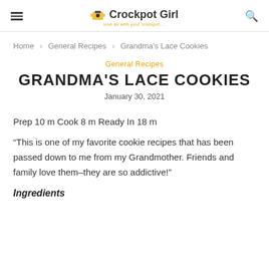Crockpot Girl
Home > General Recipes > Grandma's Lace Cookies
General Recipes
GRANDMA'S LACE COOKIES
January 30, 2021
Prep 10 m Cook 8 m Ready In 18 m
“This is one of my favorite cookie recipes that has been passed down to me from my Grandmother. Friends and family love them–they are so addictive!”
Ingredients